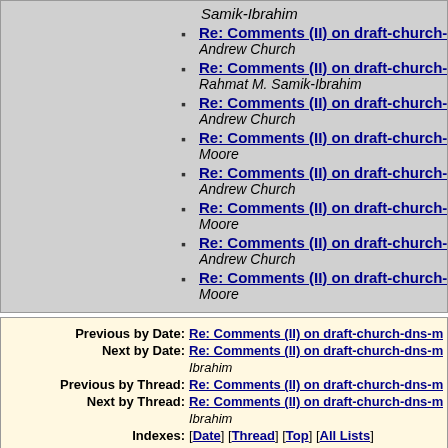Samik-Ibrahim
Re: Comments (II) on draft-church-d — Andrew Church
Re: Comments (II) on draft-church-d — Rahmat M. Samik-Ibrahim
Re: Comments (II) on draft-church-d — Andrew Church
Re: Comments (II) on draft-church-d — Moore
Re: Comments (II) on draft-church-d — Andrew Church
Re: Comments (II) on draft-church-d — Moore
Re: Comments (II) on draft-church-d — Andrew Church
Re: Comments (II) on draft-church-d — Moore
Previous by Date: Re: Comments (II) on draft-church-dns-mail-se
Next by Date: Re: Comments (II) on draft-church-dns-mail-se — Ibrahim
Previous by Thread: Re: Comments (II) on draft-church-dns-mail-se
Next by Thread: Re: Comments (II) on draft-church-dns-mail-se — Ibrahim
Indexes: [Date] [Thread] [Top] [All Lists]